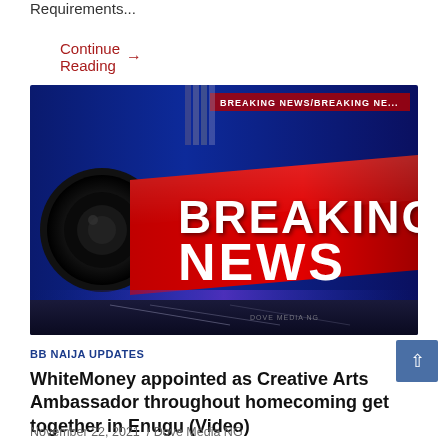Requirements...
Continue Reading →
[Figure (photo): Breaking News broadcast graphic with bold white text 'BREAKING NEWS' on a red banner against a blue studio background]
BB NAIJA UPDATES
WhiteMoney appointed as Creative Arts Ambassador throughout homecoming get together in Enugu (Video)
November 22, 2021  /  Dove Media NG